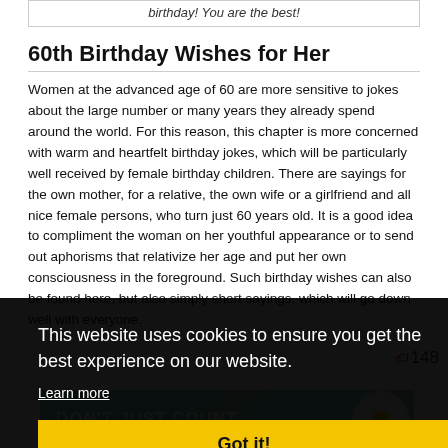birthday! You are the best!
60th Birthday Wishes for Her
Women at the advanced age of 60 are more sensitive to jokes about the large number or many years they already spend around the world. For this reason, this chapter is more concerned with warm and heartfelt birthday jokes, which will be particularly well received by female birthday children. There are sayings for the own mother, for a relative, the own wife or a girlfriend and all nice female persons, who turn just 60 years old. It is a good idea to compliment the woman on her youthful appearance or to send out aphorisms that relativize her age and put her own consciousness in the foreground. Such birthday wishes can also be found here, but also simply short sayings, which will go down well with everyone.
This website uses cookies to ensure you get the best experience on our website.
Learn more
Got it!
[Figure (photo): Bottom strip showing a flower (daisy) image with text DON'T JUST COUNT over a teal/green background]